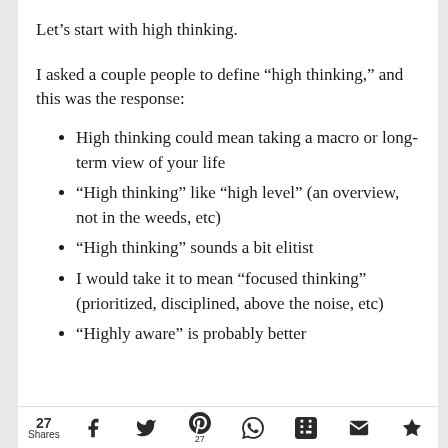Let’s start with high thinking.
I asked a couple people to define “high thinking,” and this was the response:
High thinking could mean taking a macro or long-term view of your life
“High thinking” like “high level” (an overview, not in the weeds, etc)
“High thinking” sounds a bit elitist
I would take it to mean “focused thinking” (prioritized, disciplined, above the noise, etc)
“Highly aware” is probably better
27 Shares | social share icons: Facebook, Twitter, Pinterest (27), WhatsApp, Flipboard, Email, Crown